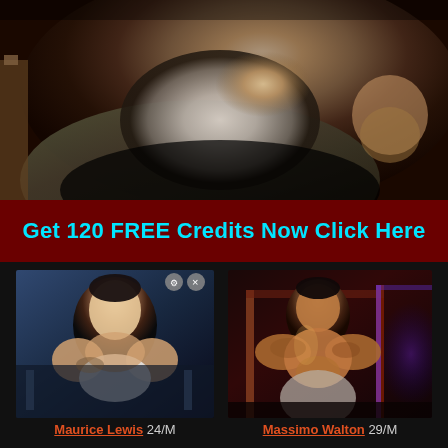[Figure (photo): Close-up photo of a person in white shorts/underwear, partially obscured, with camouflage fabric visible in background]
Get 120 FREE Credits Now Click Here
[Figure (photo): Profile photo of Maurice Lewis, a muscular young man in white tank top in a gym setting]
[Figure (photo): Profile photo of Massimo Walton, a muscular shirtless man in gym setting with purple/red lighting]
Maurice Lewis 24/M
Massimo Walton 29/M